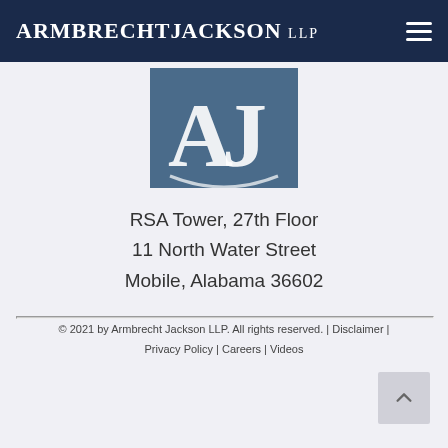ARMBRECHT JACKSON LLP
[Figure (logo): Armbrecht Jackson LLP logo — stylized AJ letters in white on a blue-grey square background]
RSA Tower, 27th Floor
11 North Water Street
Mobile, Alabama 36602
© 2021 by Armbrecht Jackson LLP. All rights reserved. | Disclaimer | Privacy Policy | Careers | Videos